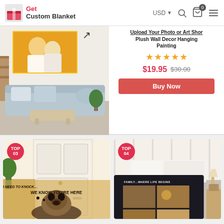Get Custom Blanket | USD | navigation
[Figure (photo): Photo wall art displayed in a living room with couple photo, light blue sofa and plants]
Upload Your Photo or Art Short Plush Wall Decor Hanging Painting
★★★★★ $19.95 $30.00
Buy Now
[Figure (photo): Top 03 badge. Doormat with pug dog and text NO NEED TO KNOCK... WE KNOW YOU'RE HERE]
[Figure (photo): Top 04 badge. Blanket with family photo collage and text FAMILY...WHERE LIFE BEGINS on a bed]